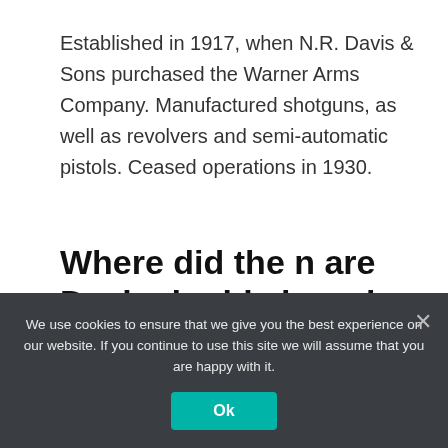Established in 1917, when N.R. Davis & Sons purchased the Warner Arms Company. Manufactured shotguns, as well as revolvers and semi-automatic pistols. Ceased operations in 1930.
Where did the n are Davis double barrel come from?
Note that the Davis guns as made in Norwich
We use cookies to ensure that we give you the best experience on our website. If you continue to use this site we will assume that you are happy with it.
Ok